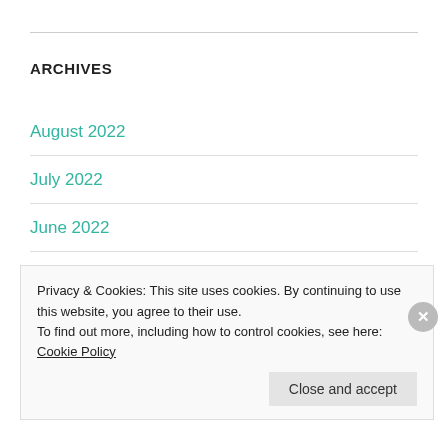ARCHIVES
August 2022
July 2022
June 2022
May 2022
Privacy & Cookies: This site uses cookies. By continuing to use this website, you agree to their use. To find out more, including how to control cookies, see here: Cookie Policy
Close and accept